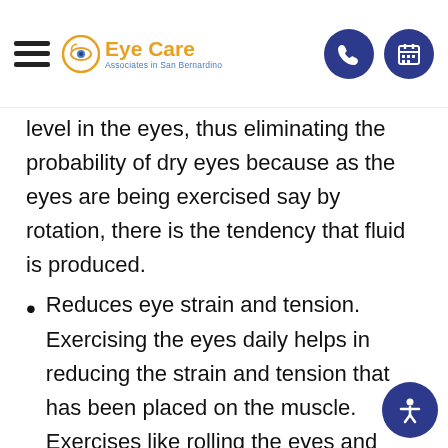Eye Care Associates in San Bernardino
level in the eyes, thus eliminating the probability of dry eyes because as the eyes are being exercised say by rotation, there is the tendency that fluid is produced.
Reduces eye strain and tension. Exercising the eyes daily helps in reducing the strain and tension that has been placed on the muscle. Exercises like rolling the eyes and writing with the eyes help in the contracting and relaxing of the...